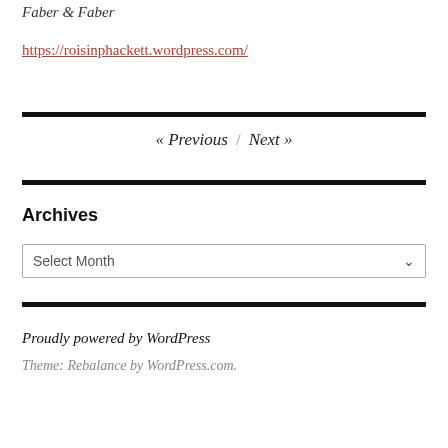Faber & Faber
https://roisinphackett.wordpress.com/
« Previous / Next »
Archives
Select Month
Proudly powered by WordPress
Theme: Rebalance by WordPress.com.